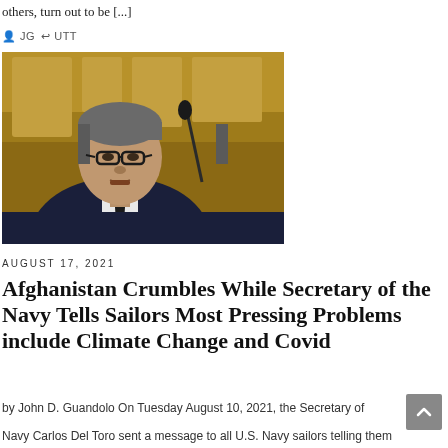others, turn out to be [...]
JG  UTT
[Figure (photo): A man in a dark suit with glasses speaking at a microphone, in front of an ornate golden background, appears to be testifying at a congressional hearing.]
August 17, 2021
Afghanistan Crumbles While Secretary of the Navy Tells Sailors Most Pressing Problems include Climate Change and Covid
by John D. Guandolo On Tuesday August 10, 2021, the Secretary of the Navy Carlos Del Toro sent a message to all U.S. Navy sailors telling them